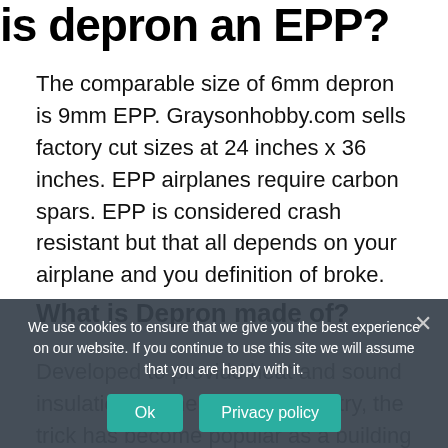is depron an EPP?
The comparable size of 6mm depron is 9mm EPP. Graysonhobby.com sells factory cut sizes at 24 inches x 36 inches. EPP airplanes require carbon spars. EPP is considered crash resistant but that all depends on your airplane and you definition of broke.
What is Depron made of?
Developed to provide heat and sound insulation for the building industry, the trick has become popular as a building model airplanes and foam models. When cutting architectural models, it is constructed from
We use cookies to ensure that we give you the best experience on our website. If you continue to use this site we will assume that you are happy with it.